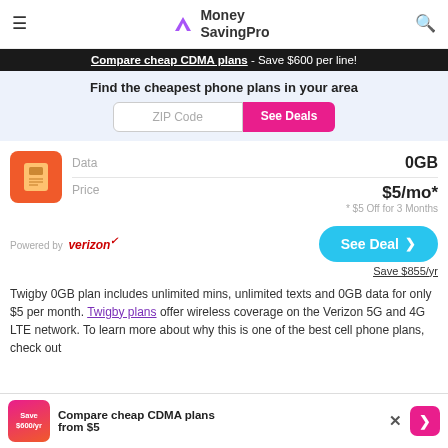Money SavingPro
Compare cheap CDMA plans - Save $600 per line!
Find the cheapest phone plans in your area
ZIP Code | See Deals
| Field | Value |
| --- | --- |
| Data | 0GB |
| Price | $5/mo* * $5 Off for 3 Months |
Powered by verizon
See Deal > Save $855/yr
Twigby 0GB plan includes unlimited mins, unlimited texts and 0GB data for only $5 per month. Twigby plans offer wireless coverage on the Verizon 5G and 4G LTE network. To learn more about why this is one of the best cell phone plans, check out
Compare cheap CDMA plans from $5